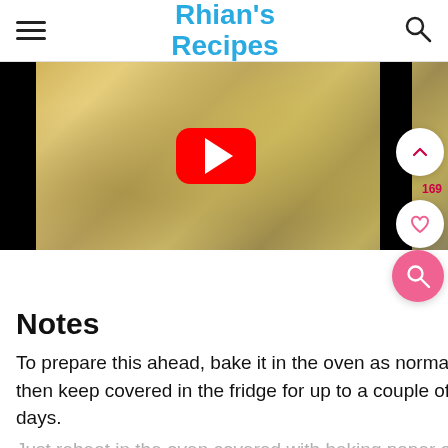Rhian's Recipes
[Figure (screenshot): Video thumbnail showing a baked dish with herbs, with a YouTube play button overlay in the center]
Notes
To prepare this ahead, bake it in the oven as normal, then keep covered in the fridge for up to a couple of days.
Just reheat in the oven covered with baking paper or tin foil until piping hot